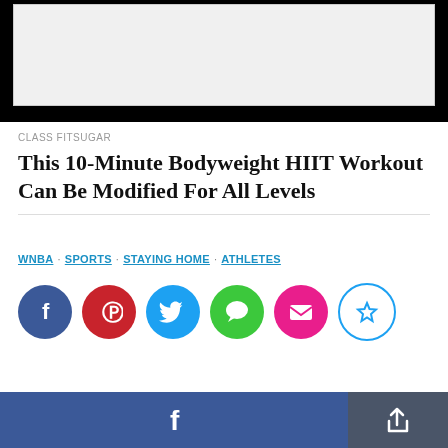[Figure (photo): Top image area with black background bar and light gray image placeholder]
CLASS FITSUGAR
This 10-Minute Bodyweight HIIT Workout Can Be Modified For All Levels
WNBA · SPORTS · STAYING HOME · ATHLETES
[Figure (infographic): Row of social media sharing icons: Facebook (dark blue), Pinterest (red), Twitter (light blue), Messages (green), Email (pink/magenta), Bookmark (cyan outline)]
[Figure (infographic): Bottom bar with Facebook share button (dark blue) and share/export icon button (dark gray)]